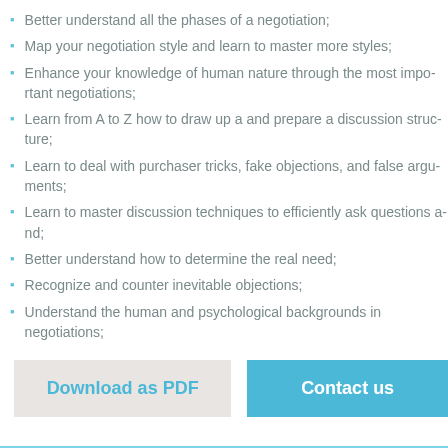Better understand all the phases of a negotiation;
Map your negotiation style and learn to master more styles;
Enhance your knowledge of human nature through the most important negotiations;
Learn from A to Z how to draw up a and prepare a discussion structure;
Learn to deal with purchaser tricks, fake objections, and false arguments;
Learn to master discussion techniques to efficiently ask questions and;
Better understand how to determine the real need;
Recognize and counter inevitable objections;
Understand the human and psychological backgrounds in negotiations;
Download as PDF
Contact us